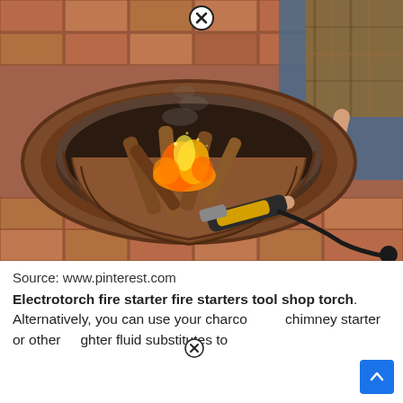[Figure (photo): A person using an electric torch/electrotorch fire starter to light wood logs in a circular brick fire pit on a paver patio. The fire pit is round, built with stacked brick pavers, and a metal bowl insert. The person is wearing a plaid shirt and jeans, holding an electric fire starter wand connected by a cord.]
Source: www.pinterest.com
Electrotorch fire starter fire starters tool shop torch. Alternatively, you can use your charcoal chimney starter or other lighter fluid substitutes to